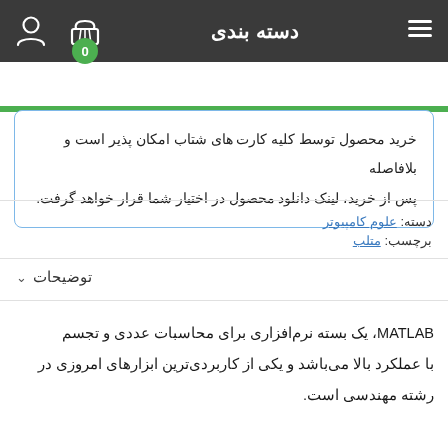دسته بندی
خرید محصول توسط کلیه کارت های شتاب امکان پذیر است و بلافاصله پس از خرید، لینک دانلود محصول در اختیار شما قرار خواهد گرفت.
دسته: علوم کامپیوتر
برچسب: متلب
توضیحات
MATLAB، یک بسته نرم‌افزاری برای محاسبات عددی و تجسم با عملکرد بالا می‌باشد و یکی از کاربردی‌ترین ابزارهای امروزی در رشته مهندسی است.